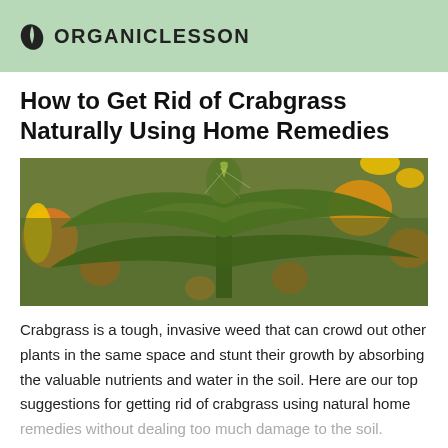ORGANICLESSON
How to Get Rid of Crabgrass Naturally Using Home Remedies
[Figure (photo): Close-up photo of a green plant with leaves resembling crabgrass or weeds, surrounded by orange and yellow flowers in a garden setting.]
Crabgrass is a tough, invasive weed that can crowd out other plants in the same space and stunt their growth by absorbing the valuable nutrients and water in the soil. Here are our top suggestions for getting rid of crabgrass using natural home remedies without dealing too much damage to the soil.